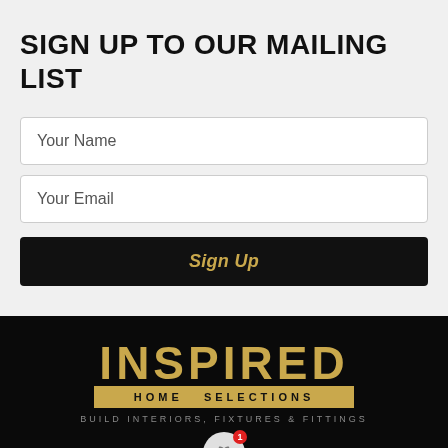SIGN UP TO OUR MAILING LIST
Your Name
Your Email
Sign Up
[Figure (logo): Inspired Home Selections logo with gold lettering on black background, tagline: BUILD INTERIORS, FIXTURES & FITTINGS]
VISIT OUR SHOWROOM: